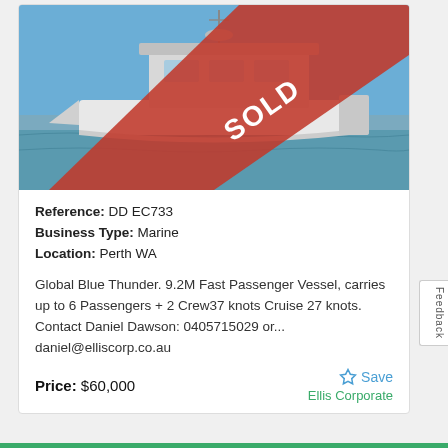[Figure (photo): A white boat/passenger vessel on water with a red diagonal SOLD banner across the image]
Reference: DD EC733
Business Type: Marine
Location: Perth WA
Global Blue Thunder. 9.2M Fast Passenger Vessel, carries up to 6 Passengers + 2 Crew37 knots Cruise 27 knots. Contact Daniel Dawson: 0405715029 or... daniel@elliscorp.co.au
Price: $60,000
Save
Ellis Corporate